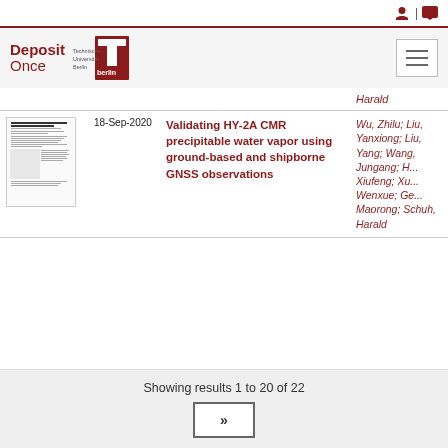Deposit Once — TU Berlin repository header navigation
| Thumbnail | Date | Title | Authors |
| --- | --- | --- | --- |
| [image] |  |  | Harald |
| [paper thumbnail] | 18-Sep-2020 | Validating HY-2A CMR precipitable water vapor using ground-based and shipborne GNSS observations | Wu, Zhilu; Liu, Yanxiong; Liu, Yang; Wang, Jungang; H... Xiufeng; Xu... Wenxue; Ge... Maorong; Schuh, Harald |
Showing results 1 to 20 of 22